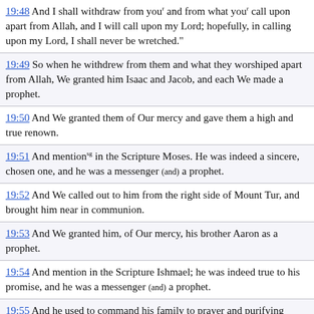19:48 And I shall withdraw from you and from what you call upon apart from Allah, and I will call upon my Lord; hopefully, in calling upon my Lord, I shall never be wretched.
19:49 So when he withdrew from them and what they worshiped apart from Allah, We granted him Isaac and Jacob, and each We made a prophet.
19:50 And We granted them of Our mercy and gave them a high and true renown.
19:51 And mention[sg] in the Scripture Moses. He was indeed a sincere, chosen one, and he was a messenger (and) a prophet.
19:52 And We called out to him from the right side of Mount Tur, and brought him near in communion.
19:53 And We granted him, of Our mercy, his brother Aaron as a prophet.
19:54 And mention in the Scripture Ishmael; he was indeed true to his promise, and he was a messenger (and) a prophet.
19:55 And he used to command his family to prayer and purifying charity, and with his Lord he was always rendered pleased.
19:56 And mention in the Scripture Enoch; he was indeed an unwavering believer (and) a prophet.